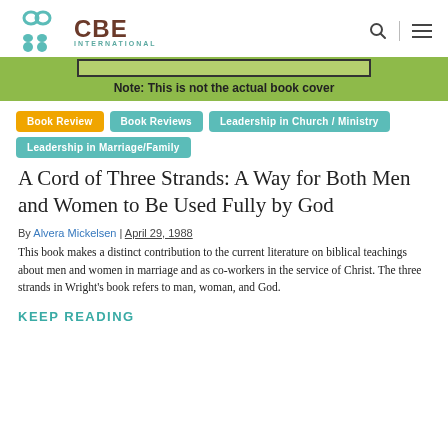[Figure (logo): CBE International logo with teal figure icons and brown CBE text]
[Figure (photo): Book cover banner with green background and note reading 'Note: This is not the actual book cover']
Book Review
Book Reviews
Leadership in Church / Ministry
Leadership in Marriage/Family
A Cord of Three Strands: A Way for Both Men and Women to Be Used Fully by God
By Alvera Mickelsen | April 29, 1988
This book makes a distinct contribution to the current literature on biblical teachings about men and women in marriage and as co-workers in the service of Christ. The three strands in Wright's book refers to man, woman, and God.
KEEP READING